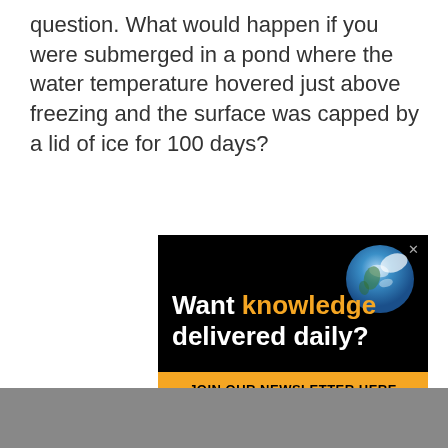question. What would happen if you were submerged in a pond where the water temperature hovered just above freezing and the surface was capped by a lid of ice for 100 days?
[Figure (infographic): Advertisement banner with black background, Earth image, text 'Want knowledge delivered daily?', yellow button 'JOIN OUR NEWSLETTER HERE', and ScienceAlert logo at bottom.]